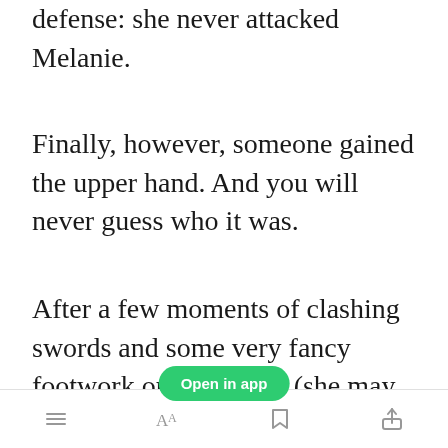defense: she never attacked Melanie.
Finally, however, someone gained the upper hand. And you will never guess who it was.
After a few moments of clashing swords and some very fancy footwork on Eve's part (she may have been a servant, but she was a fantastic swordswoman) Melanie
[Figure (screenshot): Green 'Open in app' button overlay]
Bottom toolbar with list, font, bookmark, and share icons